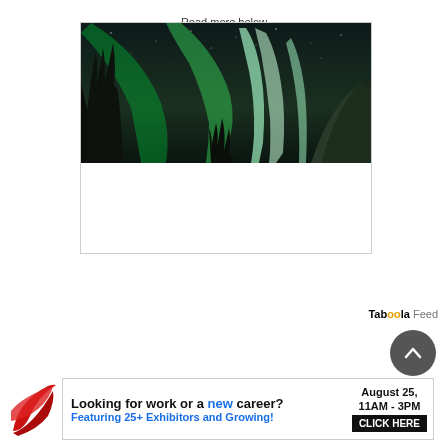Read more below
[Figure (photo): Aurora borealis (northern lights) photo with green lights streaking across night sky above silhouetted pine trees and snow-covered mountain]
Taboola Feed
[Figure (other): Circular dark gray up-arrow button]
[Figure (logo): Red and dark triangular company logo on bottom left]
Looking for work or a new career? August 25, 11AM - 3PM Featuring 25+ Exhibitors and Growing! CLICK HERE